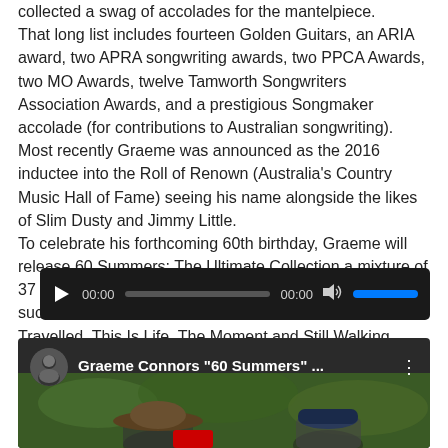collected a swag of accolades for the mantelpiece. That long list includes fourteen Golden Guitars, an ARIA award, two APRA songwriting awards, two PPCA Awards, two MO Awards, twelve Tamworth Songwriters Association Awards, and a prestigious Songmaker accolade (for contributions to Australian songwriting). Most recently Graeme was announced as the 2016 inductee into the Roll of Renown (Australia's Country Music Hall of Fame) seeing his name alongside the likes of Slim Dusty and Jimmy Little. To celebrate his forthcoming 60th birthday, Graeme will release 60 Summers: The Ultimate Collection a mixture of 37 songs from the very beginning of his career through such landmark albums as The Return, The Road Less Travelled, This Is Life, The Moment and Still Walking.
[Figure (screenshot): Audio player widget with dark background, play button, time display showing 00:00, progress bar, volume icon and blue volume bar]
[Figure (screenshot): Video thumbnail showing two men wearing hats outdoors with green foliage background, overlaid with YouTube-style interface showing channel icon, title 'Graeme Connors "60 Summers" ...' and menu icon]